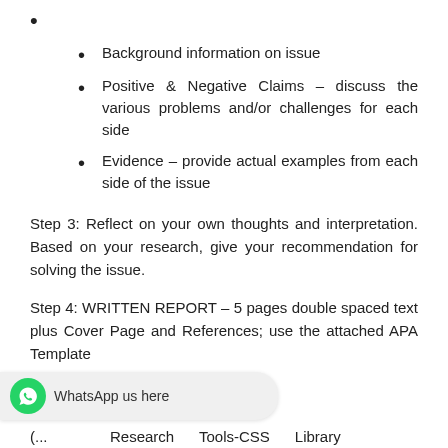Background information on issue
Positive & Negative Claims – discuss the various problems and/or challenges for each side
Evidence – provide actual examples from each side of the issue
Step 3: Reflect on your own thoughts and interpretation. Based on your research, give your recommendation for solving the issue.
Step 4: WRITTEN REPORT – 5 pages double spaced text plus Cover Page and References; use the attached APA Template
(... Research Tools-CSS Library